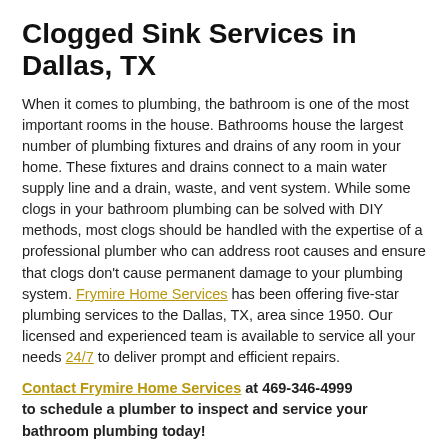Clogged Sink Services in Dallas, TX
When it comes to plumbing, the bathroom is one of the most important rooms in the house. Bathrooms house the largest number of plumbing fixtures and drains of any room in your home. These fixtures and drains connect to a main water supply line and a drain, waste, and vent system. While some clogs in your bathroom plumbing can be solved with DIY methods, most clogs should be handled with the expertise of a professional plumber who can address root causes and ensure that clogs don’t cause permanent damage to your plumbing system. Frymire Home Services has been offering five-star plumbing services to the Dallas, TX, area since 1950. Our licensed and experienced team is available to service all your needs 24/7 to deliver prompt and efficient repairs.
Contact Frymire Home Services at 469-346-4999 to schedule a plumber to inspect and service your bathroom plumbing today!
What Causes My Sink to Clog?